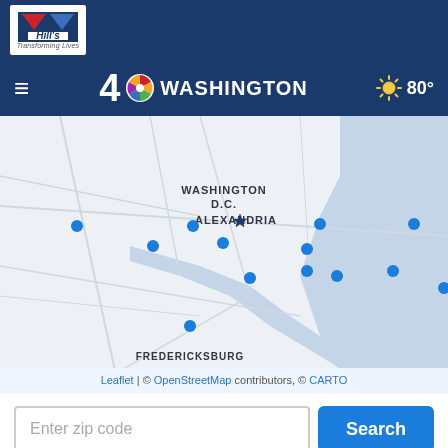[Figure (logo): Hill's Pet Nutrition logo - red/blue flag icon with 'Hill's' text and 'Transforming Lives' tagline on white background]
4 NBC WASHINGTON  80°
[Figure (map): Interactive map showing Washington D.C. area including Alexandria and Fredericksburg, with blue dot markers indicating shelter locations. Map attribution: Leaflet | © OpenStreetMap contributors, © CARTO]
Enter zip code  Search
Use the map to search for a shelter near you or search by zip code above